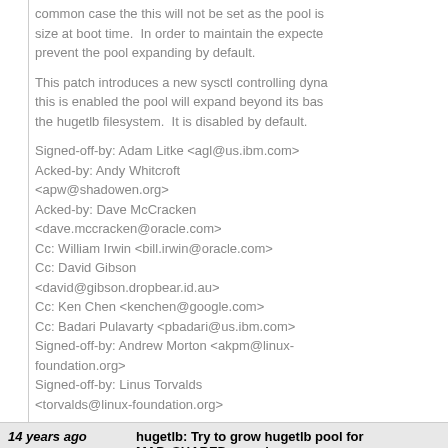common case the this will not be set as the pool is size at boot time. In order to maintain the expected prevent the pool expanding by default.
This patch introduces a new sysctl controlling dyna this is enabled the pool will expand beyond its base the hugetlb filesystem. It is disabled by default.
Signed-off-by: Adam Litke <agl@us.ibm.com>
Acked-by: Andy Whitcroft <apw@shadowen.org>
Acked-by: Dave McCracken <dave.mccracken@oracle.com>
Cc: William Irwin <bill.irwin@oracle.com>
Cc: David Gibson <david@gibson.dropbear.id.au>
Cc: Ken Chen <kenchen@google.com>
Cc: Badari Pulavarty <pbadari@us.ibm.com>
Signed-off-by: Andrew Morton <akpm@linux-foundation.org>
Signed-off-by: Linus Torvalds <torvalds@linux-foundation.org>
14 years ago   hugetlb: Try to grow hugetlb pool for MAP_SHARED mappings
commit | commitdiff | tree   Adam Litke [Tue, 16 Oct 2007 08:26:19 +0000 (01:26 -0700)]
hugetlb: Try to grow hugetlb pool for MAP_SHARE...